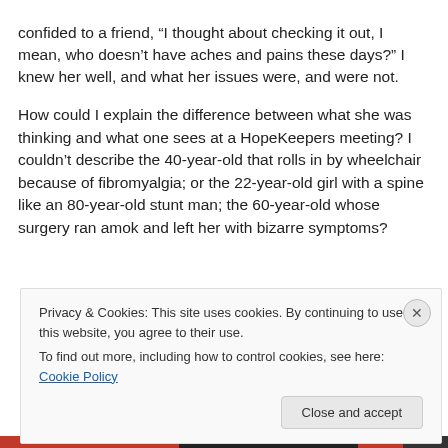confided to a friend, “I thought about checking it out, I mean, who doesn’t have aches and pains these days?” I knew her well, and what her issues were, and were not.
How could I explain the difference between what she was thinking and what one sees at a HopeKeepers meeting? I couldn’t describe the 40-year-old that rolls in by wheelchair because of fibromyalgia; or the 22-year-old girl with a spine like an 80-year-old stunt man; the 60-year-old whose surgery ran amok and left her with bizarre symptoms?
Privacy & Cookies: This site uses cookies. By continuing to use this website, you agree to their use.
To find out more, including how to control cookies, see here: Cookie Policy